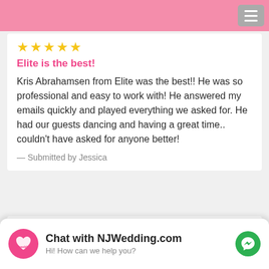[Figure (screenshot): Pink top navigation bar with hamburger menu icon]
★★★★★
Elite is the best!
Kris Abrahamsen from Elite was the best!! He was so professional and easy to work with! He answered my emails quickly and played everything we asked for. He had our guests dancing and having a great time.. couldn't have asked for anyone better!
— Submitted by Jessica
★★★★★
The DJ, Mike was amazing! When we had our meeting, Mike really took the
[Figure (screenshot): Chat with NJWedding.com overlay widget with messenger icon]